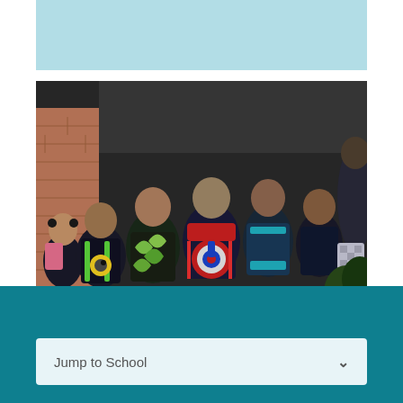[Figure (other): Light blue decorative bar at the top of the page]
[Figure (photo): Children standing in a line outdoors against a brick wall, each wearing colorful backpacks. The photo shows them from behind. Various backpack designs are visible including a Minions character, green leaf pattern, Marvel superheroes (Captain America), and other colorful designs.]
Jump to School